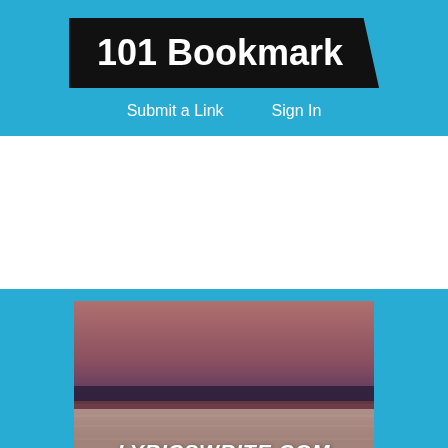101 Bookmark
Submit a Link   Sign In
[Figure (screenshot): Thumbnail image for lyricswrite.com showing a sunset/horizon background with the text LYRICSWRITE.COM and ALL SONGS LYRICS]